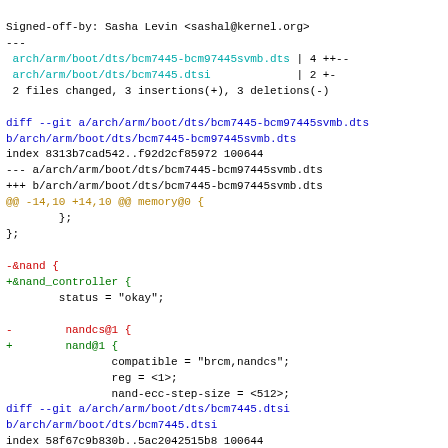Signed-off-by: Sasha Levin <sashal@kernel.org>
---
 arch/arm/boot/dts/bcm7445-bcm97445svmb.dts | 4 ++--
 arch/arm/boot/dts/bcm7445.dtsi             | 2 +-
 2 files changed, 3 insertions(+), 3 deletions(-)

diff --git a/arch/arm/boot/dts/bcm7445-bcm97445svmb.dts b/arch/arm/boot/dts/bcm7445-bcm97445svmb.dts
index 8313b7cad542..f92d2cf85972 100644
--- a/arch/arm/boot/dts/bcm7445-bcm97445svmb.dts
+++ b/arch/arm/boot/dts/bcm7445-bcm97445svmb.dts
@@ -14,10 +14,10 @@ memory@0 {
         };
 };

-&nand {
+&nand_controller {
         status = "okay";

-        nandcs@1 {
+        nand@1 {
                 compatible = "brcm,nandcs";
                 reg = <1>;
                 nand-ecc-step-size = <512>;
diff --git a/arch/arm/boot/dts/bcm7445.dtsi b/arch/arm/boot/dts/bcm7445.dtsi
index 58f67c9b830b..5ac2042515b8 100644
--- a/arch/arm/boot/dts/bcm7445.dtsi
+++ b/arch/arm/boot/dts/bcm7445.dtsi
@@ -148,7 +148,7 @@ aon-ctrl@410000 {
                 reg-names = "aon-ctrl", "aon-